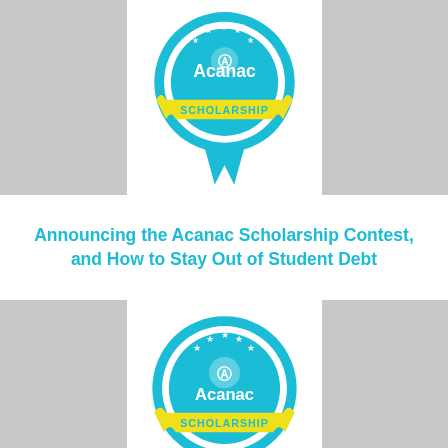[Figure (illustration): Acanac Scholarship badge/ribbon icon (top, partially cropped) — blue circular medal with yellow 'SCHOLARSHIP' banner and blue ribbon tails, with 'Acanac' text]
Announcing the Acanac Scholarship Contest, and How to Stay Out of Student Debt
[Figure (illustration): Acanac Scholarship badge/ribbon icon (bottom, full) — blue circular medal with stars, Acanac logo and text, yellow 'SCHOLARSHIP' banner, and blue ribbon tails]